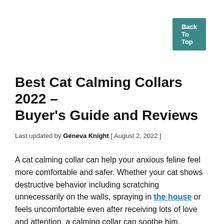Back To Top
Best Cat Calming Collars 2022 – Buyer's Guide and Reviews
Last updated by Geneva Knight [ August 2, 2022 ]
A cat calming collar can help your anxious feline feel more comfortable and safer. Whether your cat shows destructive behavior including scratching unnecessarily on the walls, spraying in the house or feels uncomfortable even after receiving lots of love and attention, a calming collar can soothe him.